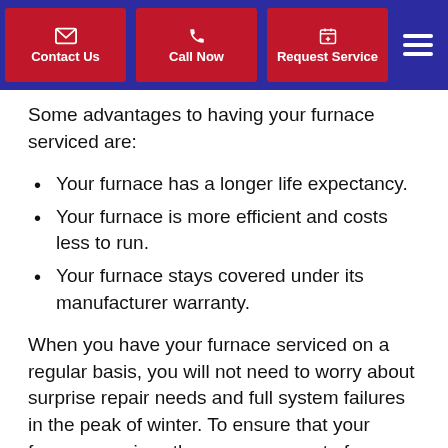Contact Us | Call Now | Request Service
Some advantages to having your furnace serviced are:
Your furnace has a longer life expectancy.
Your furnace is more efficient and costs less to run.
Your furnace stays covered under its manufacturer warranty.
When you have your furnace serviced on a regular basis, you will not need to worry about surprise repair needs and full system failures in the peak of winter. To ensure that your furnace receives the proper amount of servicing, you should get your heating system on a furnace maintenance plan, like